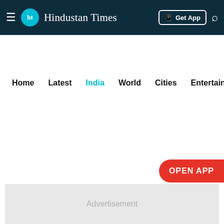HT Hindustan Times — Get App
Home
Latest
India (active)
World
Cities
Entertainment
India At 75 (NEW)
Quickreads
Daily Digest
Quiz
V
OPEN APP
Advertisement